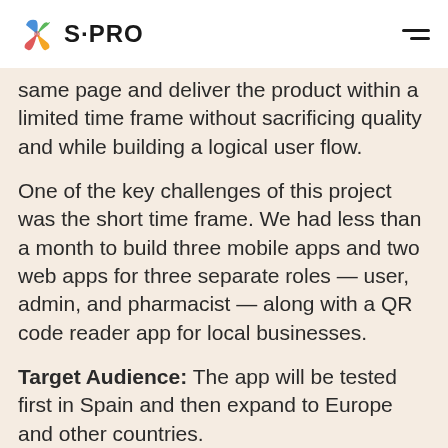S·PRO
same page and deliver the product within a limited time frame without sacrificing quality and while building a logical user flow.
One of the key challenges of this project was the short time frame. We had less than a month to build three mobile apps and two web apps for three separate roles — user, admin, and pharmacist — along with a QR code reader app for local businesses.
Target Audience: The app will be tested first in Spain and then expand to Europe and other countries.